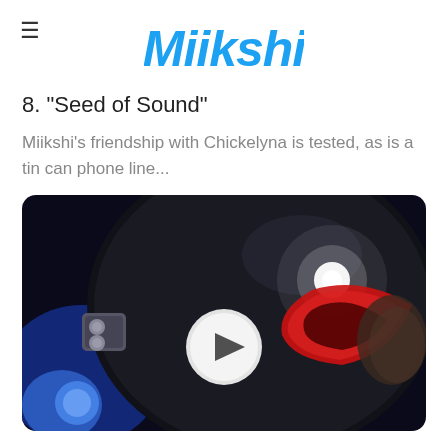Miikshi
8. "Seed of Sound"
Miikshi's friendship with Chickelyna is tested, as is a tin can phone line...
[Figure (photo): Video thumbnail showing a close-up of a shiny black helmet with a red visor/mask element, with a bright light reflection. A white circular play button overlay is centered on the image. A small rectangular element (possibly a clasp or lock) is visible on the left side of the helmet. Blue light visible in background lower left.]